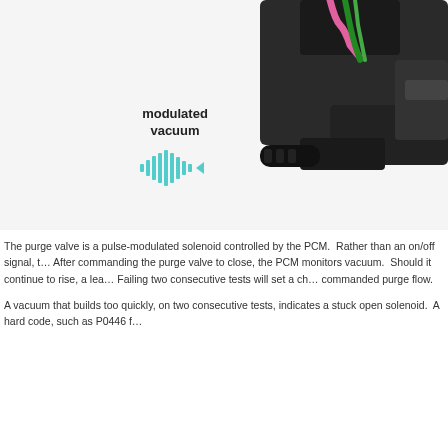[Figure (photo): Photo of a purge valve solenoid with pink and green wires at top, black cylindrical body, and a black nozzle port on the side. An annotation reads 'modulated vacuum' with a cyan sound-wave/pulse icon pointing to the nozzle.]
The purge valve is a pulse-modulated solenoid controlled by the PCM. Rather than an on/off signal, t… After commanding the purge valve to close, the PCM monitors vacuum. Should it continue to rise, a lea… Failing two consecutive tests will set a ch… commanded purge flow.
A vacuum that builds too quickly, on two consecutive tests, indicates a stuck open solenoid. A hard code, such as P0446 f…